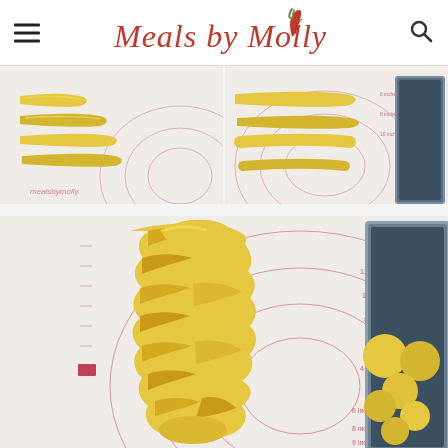Meals by Molly
[Figure (photo): Two side-by-side photos showing stages of braiding bread dough on a white silicone baking mat with red measurement circles. Left photo shows four separate elongated dough strands laid out. Right photo shows the strands being arranged near a metal loaf pan.]
[Figure (photo): Close-up photo of a fully braided yellow egg bread (challah) loaf on a white silicone baking mat with red measurement circles. A dark metal loaf pan with small round dough balls is visible on the right side.]